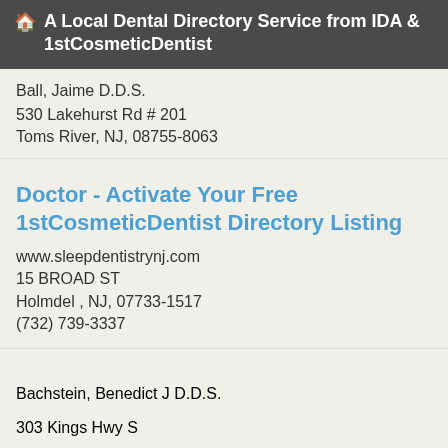🏠 A Local Dental Directory Service from IDA & 1stCosmeticDentist
Ball, Jaime D.D.S.
530 Lakehurst Rd # 201
Toms River, NJ, 08755-8063
Doctor - Activate Your Free 1stCosmeticDentist Directory Listing
www.sleepdentistrynj.com
15 BROAD ST
Holmdel , NJ, 07733-1517
(732) 739-3337
Bachstein, Benedict J D.D.S.
303 Kings Hwy S
Cherry Hill, NJ, 08034-2579
A Beautiful Smile and Your Cosmetic Dentist
Everyone knows Mona Lisa's smile, but who